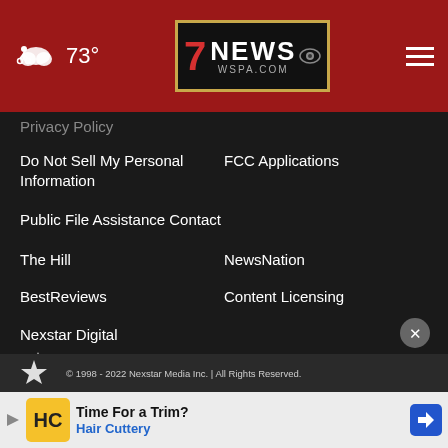73° | 7 NEWS WSPA.COM
Privacy Policy
Do Not Sell My Personal Information
FCC Applications
Public File Assistance Contact
The Hill
NewsNation
BestReviews
Content Licensing
Nexstar Digital
© 1998 - 2022 Nexstar Media Inc. | All Rights Reserved.
[Figure (screenshot): Hair Cuttery advertisement: 'Time For a Trim? Hair Cuttery' with HC logo and navigation arrow icon]